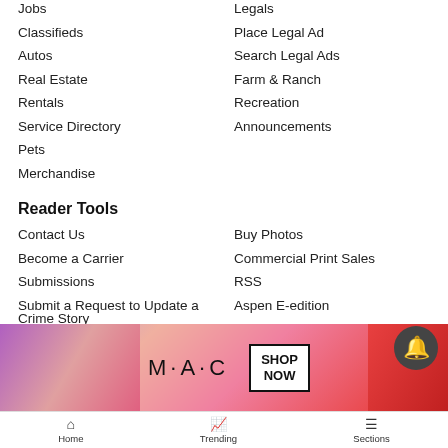Jobs
Legals
Classifieds
Place Legal Ad
Autos
Search Legal Ads
Real Estate
Farm & Ranch
Rentals
Recreation
Service Directory
Announcements
Pets
Merchandise
Reader Tools
Contact Us
Buy Photos
Become a Carrier
Commercial Print Sales
Submissions
RSS
Submit a Request to Update a Crime Story
Aspen E-edition
Submit an Obituary
Snowmass E-edition
Advertise
Cookie List
Archives
Do not sell my personal information
Newsletters
[Figure (photo): MAC cosmetics advertisement banner with lipsticks, MAC logo, and SHOP NOW button]
Home   Trending   Sections